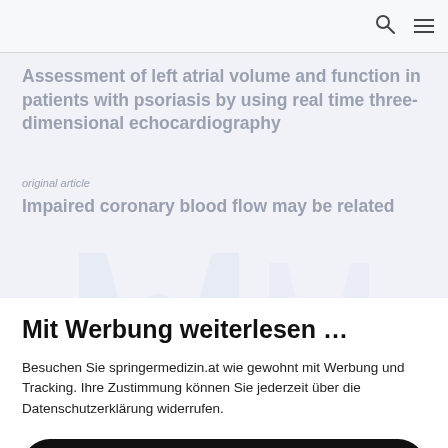Assessment of left atrial volume and function in patients with psoriasis by using real time three-dimensional echocardiography
original article
Impaired coronary blood flow may be related
Mit Werbung weiterlesen …
Besuchen Sie springermedizin.at wie gewohnt mit Werbung und Tracking. Ihre Zustimmung können Sie jederzeit über die Datenschutzerklärung widerrufen.
Akzeptieren und weiter